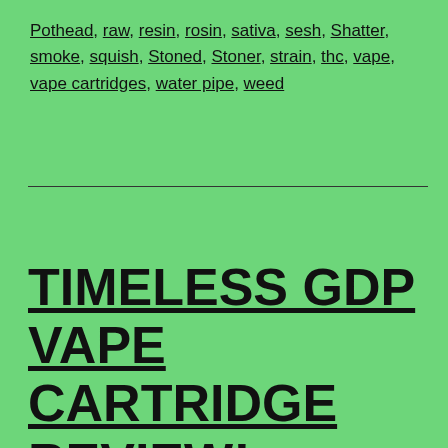Pothead, raw, resin, rosin, sativa, sesh, Shatter, smoke, squish, Stoned, Stoner, strain, thc, vape, vape cartridges, water pipe, weed
TIMELESS GDP VAPE CARTRIDGE REVIEW! #TasteTheTerps